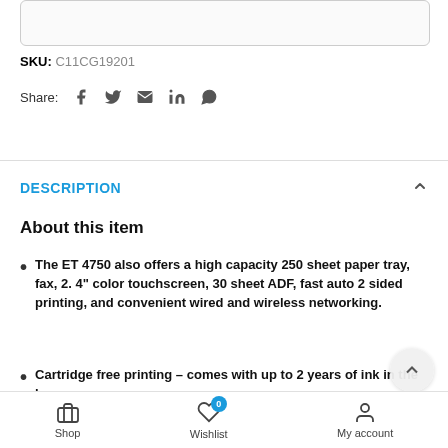SKU: C11CG19201
Share: [social icons: facebook, twitter, email, linkedin, whatsapp]
DESCRIPTION
About this item
The ET 4750 also offers a high capacity 250 sheet paper tray, fax, 2. 4" color touchscreen, 30 sheet ADF, fast auto 2 sided printing, and convenient wired and wireless networking.
Cartridge free printing – comes with up to 2 years of ink in the box
Shop | Wishlist 0 | My account